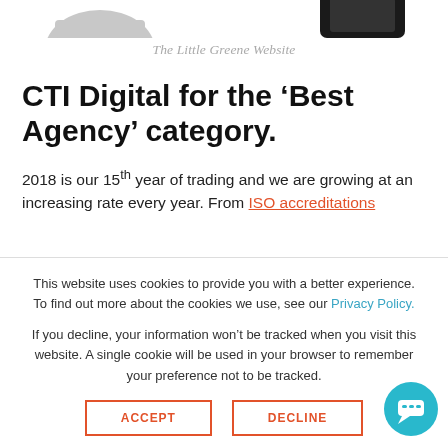The Little Greene Website
CTI Digital for the ‘Best Agency’ category.
2018 is our 15th year of trading and we are growing at an increasing rate every year. From ISO accreditations
This website uses cookies to provide you with a better experience. To find out more about the cookies we use, see our Privacy Policy.
If you decline, your information won’t be tracked when you visit this website. A single cookie will be used in your browser to remember your preference not to be tracked.
ACCEPT   DECLINE